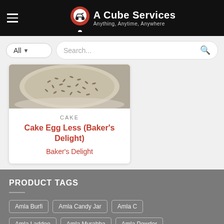A Cube Services — Anything, Anytime, Anywhere
All    Search...
[Figure (photo): Partial view of a decorated cake with seeds/toppings on top, shown from above at the top of the product card]
CAKE
Cake Egg Less (Baker's Delight)
Baker's Delight
PRODUCT TAGS
Amla Burfi
Amla Candy Jar
Amla C...
Amla Laddoo
Amla Murabba
Amla Powder
Order now